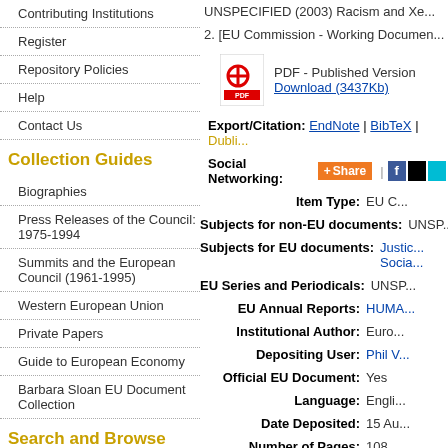Contributing Institutions
Register
Repository Policies
Help
Contact Us
Collection Guides
Biographies
Press Releases of the Council: 1975-1994
Summits and the European Council (1961-1995)
Western European Union
Private Papers
Guide to European Economy
Barbara Sloan EU Document Collection
Search and Browse
UNSPECIFIED (2003) Racism and Xe...
2. [EU Commission - Working Documen...
PDF - Published Version
Download (3437Kb)
Export/Citation: EndNote | BibTeX | Dubli...
Social Networking: Share | social icons
| Field | Value |
| --- | --- |
| Item Type: | EU C... |
| Subjects for non-EU documents: | UNSP... |
| Subjects for EU documents: | Justic... Socia... |
| EU Series and Periodicals: | UNSP... |
| EU Annual Reports: | HUMA... |
| Institutional Author: | Euro... |
| Depositing User: | Phil V... |
| Official EU Document: | Yes |
| Language: | Engli... |
| Date Deposited: | 15 Au... |
| Number of Pages: | 108 |
| Last Modified: | 15 Au... |